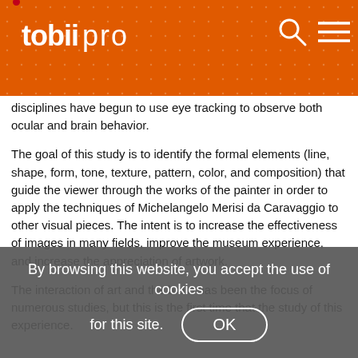tobii pro
disciplines have begun to use eye tracking to observe both ocular and brain behavior.
The goal of this study is to identify the formal elements (line, shape, form, tone, texture, pattern, color, and composition) that guide the viewer through the works of the painter in order to apply the techniques of Michelangelo Merisi da Caravaggio to other visual pieces. The intent is to increase the effectiveness of images in many fields, improve the museum experience, and increase the appreciation of artwork.
The interaction of art and the brain has been the focus of numerous studies, but this is the first time that the study of this [partially obscured] experience.
By browsing this website, you accept the use of cookies for this site. OK